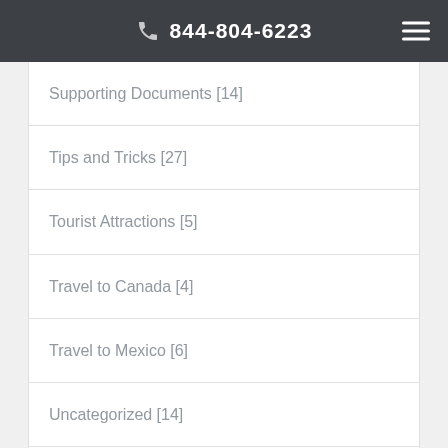844-804-6223
Supporting Documents [14]
Tips and Tricks [27]
Tourist Attractions [5]
Travel to Canada [4]
Travel to Mexico [6]
Uncategorized [14]
Where to Apply [11]
Australia Visas [1]